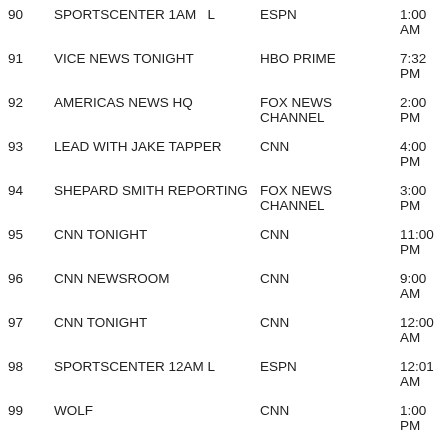| # | Show | Network | Time |
| --- | --- | --- | --- |
| 90 | SPORTSCENTER 1AM  L | ESPN | 1:00 AM |
| 91 | VICE NEWS TONIGHT | HBO PRIME | 7:32 PM |
| 92 | AMERICAS NEWS HQ | FOX NEWS CHANNEL | 2:00 PM |
| 93 | LEAD WITH JAKE TAPPER | CNN | 4:00 PM |
| 94 | SHEPARD SMITH REPORTING | FOX NEWS CHANNEL | 3:00 PM |
| 95 | CNN TONIGHT | CNN | 11:00 PM |
| 96 | CNN NEWSROOM | CNN | 9:00 AM |
| 97 | CNN TONIGHT | CNN | 12:00 AM |
| 98 | SPORTSCENTER 12AM  L | ESPN | 12:01 AM |
| 99 | WOLF | CNN | 1:00 PM |
| 100 | CNN NEWSROOM | CNN | 10:00 AM |
| 101 |  | BLACK | 11:00 |